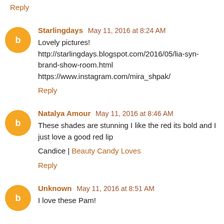Reply
Starlingdays  May 11, 2016 at 8:24 AM
Lovely pictures!
http://starlingdays.blogspot.com/2016/05/lia-syn-brand-show-room.html
https://www.instagram.com/mira_shpak/
Reply
Natalya Amour  May 11, 2016 at 8:46 AM
These shades are stunning I like the red its bold and I just love a good red lip

Candice | Beauty Candy Loves
Reply
Unknown  May 11, 2016 at 8:51 AM
I love these Pam!